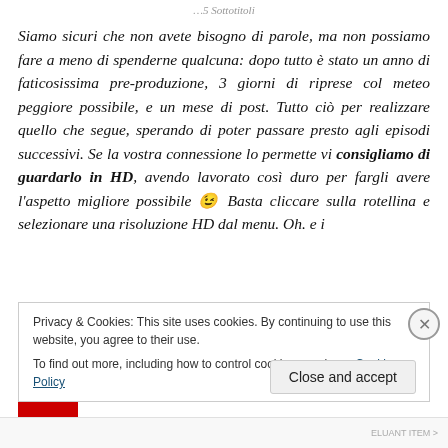...5 Sottotitoli
Siamo sicuri che non avete bisogno di parole, ma non possiamo fare a meno di spenderne qualcuna: dopo tutto è stato un anno di faticosissima pre-produzione, 3 giorni di riprese col meteo peggiore possibile, e un mese di post. Tutto ciò per realizzare quello che segue, sperando di poter passare presto agli episodi successivi. Se la vostra connessione lo permette vi consigliamo di guardarlo in HD, avendo lavorato così duro per fargli avere l'aspetto migliore possibile 😉 Basta cliccare sulla rotellina e selezionare una risoluzione HD dal menu. Oh. e i
Privacy & Cookies: This site uses cookies. By continuing to use this website, you agree to their use.
To find out more, including how to control cookies, see here: Cookie Policy
Close and accept